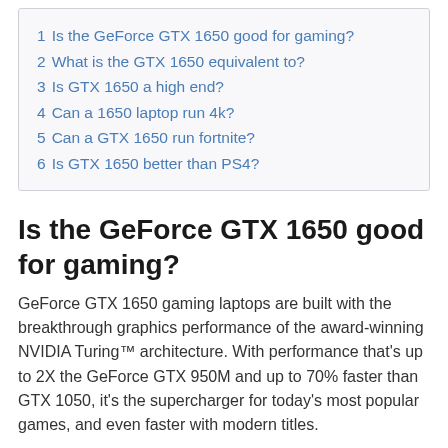1 Is the GeForce GTX 1650 good for gaming?
2 What is the GTX 1650 equivalent to?
3 Is GTX 1650 a high end?
4 Can a 1650 laptop run 4k?
5 Can a GTX 1650 run fortnite?
6 Is GTX 1650 better than PS4?
Is the GeForce GTX 1650 good for gaming?
GeForce GTX 1650 gaming laptops are built with the breakthrough graphics performance of the award-winning NVIDIA Turing™ architecture. With performance that's up to 2X the GeForce GTX 950M and up to 70% faster than GTX 1050, it's the supercharger for today's most popular games, and even faster with modern titles.